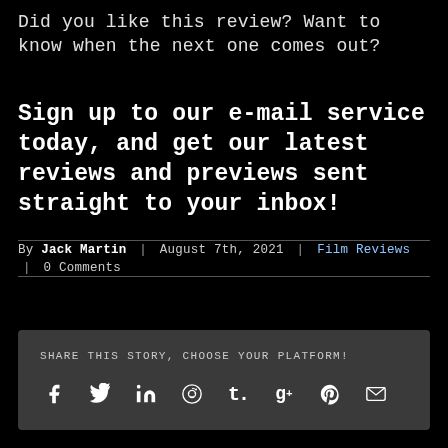Did you like this review? Want to know when the next one comes out?
Sign up to our e-mail service today, and get our latest reviews and previews sent straight to your inbox!
By Jack Martin | August 7th, 2021 | Film Reviews | 0 Comments
SHARE THIS STORY, CHOOSE YOUR PLATFORM!